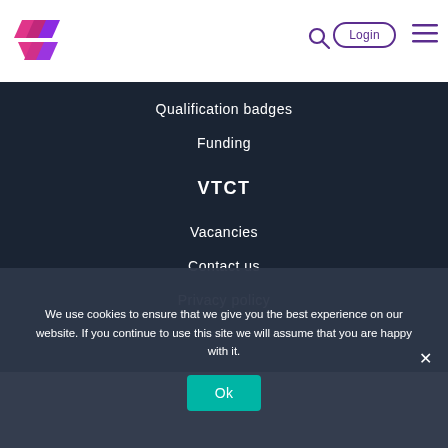[Figure (logo): VTCT logo — stylized chevron/arrow mark in pink and purple]
Login
Qualification badges
Funding
VTCT
Vacancies
Contact us
Privacy policy
We use cookies to ensure that we give you the best experience on our website. If you continue to use this site we will assume that you are happy with it.
Ok